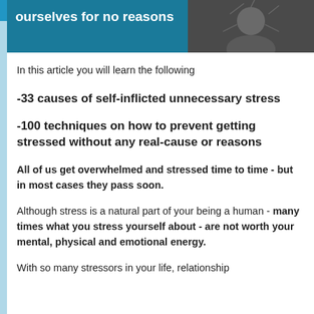[Figure (photo): Header image with teal/dark background showing text 'ourselves for no reasons' in white bold font, with a dark photo of a person on the right side]
In this article you will learn the following
-33 causes of self-inflicted unnecessary stress
-100 techniques on how to prevent getting stressed without any real-cause or reasons
All of us get overwhelmed and stressed time to time - but in most cases they pass soon.
Although stress is a natural part of your being a human - many times what you stress yourself about - are not worth your mental, physical and emotional energy.
With so many stressors in your life, relationship